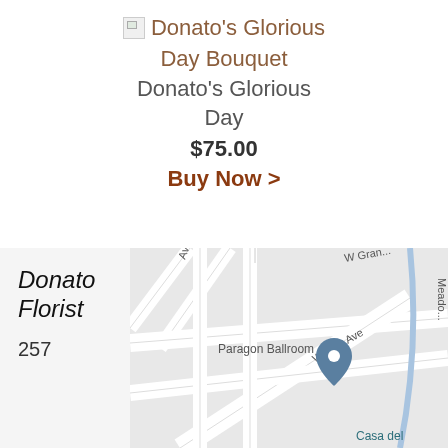[Figure (other): Broken image thumbnail for product photo]
Donato's Glorious Day Bouquet
Donato's Glorious Day
$75.00
Buy Now >
[Figure (map): Google map showing location near Paragon Ballroom, W Clay Ave, W Grant Ave, with a pin marker. Shows streets and nearby businesses including Casa del.]
Donato Florist
257